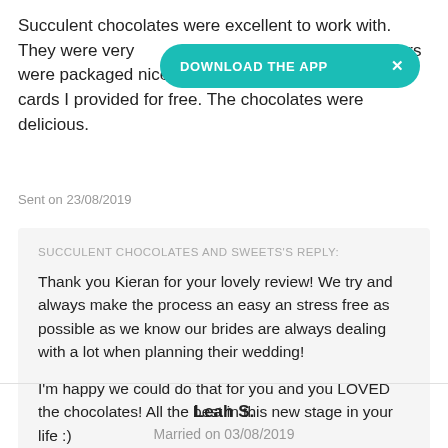Succulent chocolates were excellent to work with. They were very [app banner overlay] favours were packaged nicely and they attached the favour cards I provided for free. The chocolates were delicious.
Sent on 23/08/2019
SUCCULENT CHOCOLATES AND SWEETS'S REPLY:
Thank you Kieran for your lovely review! We try and always make the process an easy an stress free as possible as we know our brides are always dealing with a lot when planning their wedding!

I'm happy we could do that for you and you LOVED the chocolates! All the best in this new stage in your life :)
Leah S.
Married on 03/08/2019